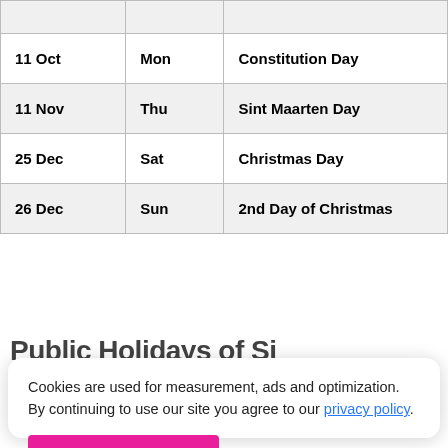| Date | Day | Holiday |
| --- | --- | --- |
|  |  |  |
| 11 Oct | Mon | Constitution Day |
| 11 Nov | Thu | Sint Maarten Day |
| 25 Dec | Sat | Christmas Day |
| 26 Dec | Sun | 2nd Day of Christmas |
Public Holidays of Sint...
Cookies are used for measurement, ads and optimization. By continuing to use our site you agree to our privacy policy.